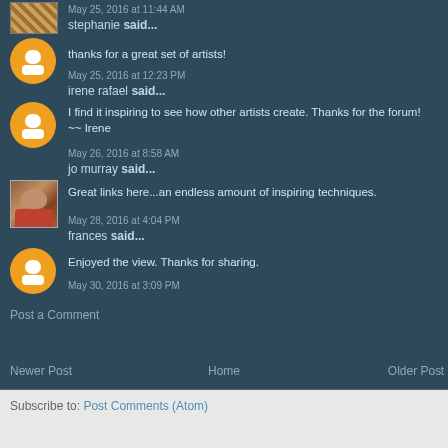May 25, 2016 at 11:44 AM
stephanie said...
thanks for a great set of artists!
May 25, 2016 at 12:23 PM
irene rafael said...
I find it inspiring to see how other artists create. Thanks for the forum! ~~ Irene
May 26, 2016 at 8:58 AM
jo murray said...
Great links here...an endless amount of inspiring techniques.
May 28, 2016 at 4:04 PM
frances said...
Enjoyed the view. Thanks for sharing.
May 30, 2016 at 3:09 PM
Post a Comment
Newer Post
Home
Older Post
Subscribe to: Post Comments (Atom)